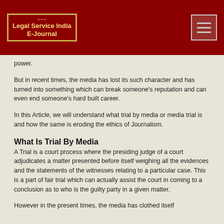Legal Service India E-Journal
power.
But in recent times, the media has lost its such character and has turned into something which can break someone's reputation and can even end someone's hard built career.
In this Article, we will understand what trial by media or media trial is and how the same is eroding the ethics of Journalism.
What Is Trial By Media
A Trial is a court process where the presiding judge of a court adjudicates a matter presented before itself weighing all the evidences and the statements of the witnesses relating to a particular case. This is a part of fair trial which can actually assist the court in coming to a conclusion as to who is the guilty party in a given matter.
However in the present times, the media has clothed itself